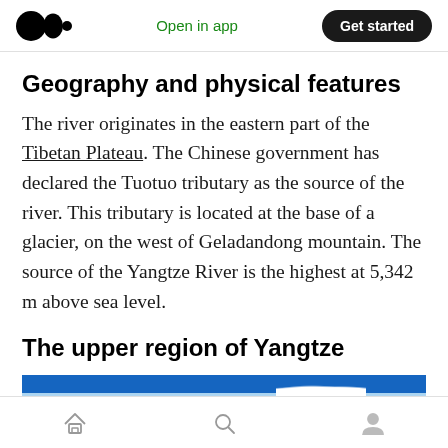Medium logo | Open in app | Get started
Geography and physical features
The river originates in the eastern part of the Tibetan Plateau. The Chinese government has declared the Tuotuo tributary as the source of the river. This tributary is located at the base of a glacier, on the west of Geladandong mountain. The source of the Yangtze River is the highest at 5,342 m above sea level.
The upper region of Yangtze
[Figure (photo): Partial view of a blue sky with white clouds, appearing at the bottom of the page as a cropped image strip.]
Bottom navigation bar with home, search, and profile icons